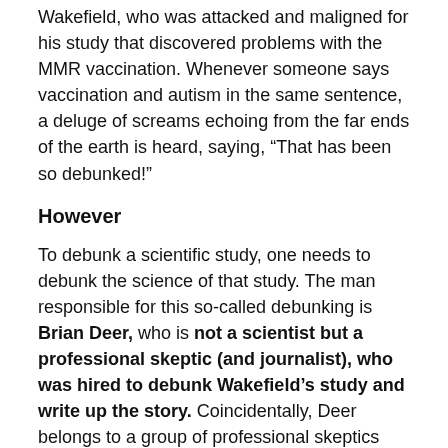Wakefield, who was attacked and maligned for his study that discovered problems with the MMR vaccination. Whenever someone says vaccination and autism in the same sentence, a deluge of screams echoing from the far ends of the earth is heard, saying, “That has been so debunked!”
However
To debunk a scientific study, one needs to debunk the science of that study. The man responsible for this so-called debunking is Brian Deer, who is not a scientist but a professional skeptic (and journalist), who was hired to debunk Wakefield’s study and write up the story. Coincidentally, Deer belongs to a group of professional skeptics that Fiona Godlee addressed during one of their meetings. Fiona Godlee is the Chief Editor of the British Medical Journal.